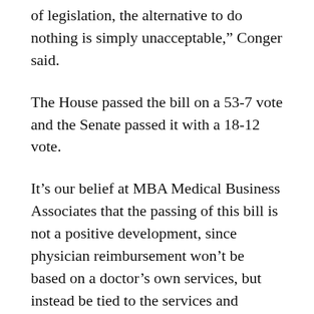of legislation, the alternative to do nothing is simply unacceptable,” Conger said.
The House passed the bill on a 53-7 vote and the Senate passed it with a 18-12 vote.
It’s our belief at MBA Medical Business Associates that the passing of this bill is not a positive development, since physician reimbursement won’t be based on a doctor’s own services, but instead be tied to the services and quality of other CCO providers over whom they have little influence.
In January, the Congressional Budget Office...